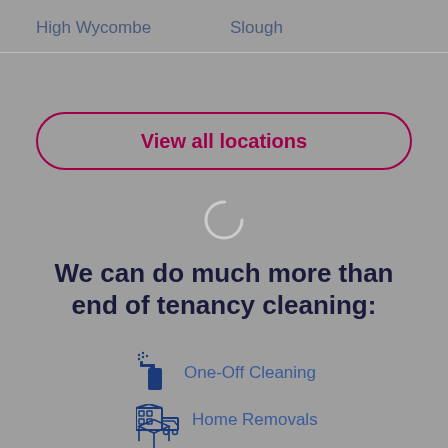High Wycombe
Slough
View all locations
[Figure (other): Circular loading spinner icon]
We can do much more than end of tenancy cleaning:
One-Off Cleaning
Home Removals
Packing Service (partially visible)